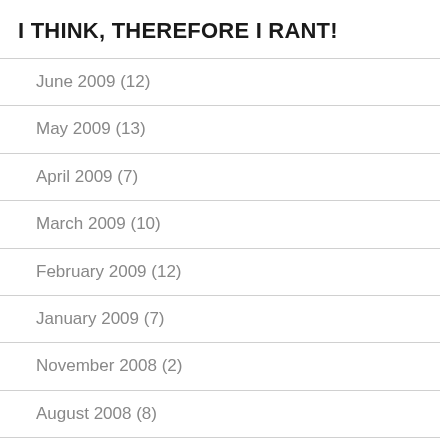I THINK, THEREFORE I RANT!
June 2009 (12)
May 2009 (13)
April 2009 (7)
March 2009 (10)
February 2009 (12)
January 2009 (7)
November 2008 (2)
August 2008 (8)
July 2008 (6)
February 2008 (3)